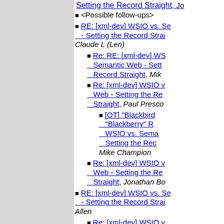Setting the Record Straight, Jo...
<Possible follow-ups>
RE: [xml-dev] WSIO vs. Se... - Setting the Record Strai..., Claude L (Len)
Re: RE: [xml-dev] WS... Semantic Web - Sett... Record Straight, Mik...
Re: [xml-dev] WSIO v... Web - Setting the Re... Straight, Paul Presco...
[OT] "Blackbird... "Blackberry" R... WSIO vs. Sema... Setting the Rec..., Mike Champion
Re: [xml-dev] WSIO v... Web - Setting the Re... Straight, Jonathan Bo...
RE: [xml-dev] WSIO vs. Se... - Setting the Record Strai..., Allen
Re: [xml-dev] WSIO v... Web - Setting the Re... Straight, Paul Presco...